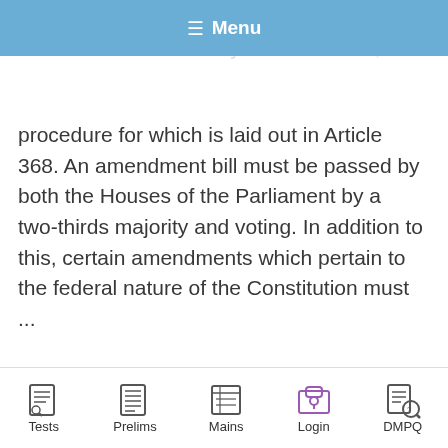≡ Menu
Amendments Amendments to the Constitution are made by the Parliament, the procedure for which is laid out in Article 368. An amendment bill must be passed by both the Houses of the Parliament by a two-thirds majority and voting. In addition to this, certain amendments which pertain to the federal nature of the Constitution must ...
Read more
[Figure (logo): YouTube play button red icon]
Religious Movements, Saints& k devtas of Rajasthan.
[Figure (logo): WhatsApp green phone icon]
[Figure (illustration): Teal chat bubble with ellipsis dots, overlapping dark background]
Tests   Prelims   Mains   Login   DMPQ